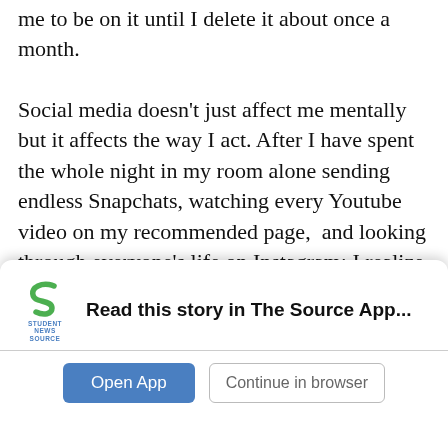me to be on it until I delete it about once a month. Social media doesn't just affect me mentally but it affects the way I act. After I have spent the whole night in my room alone sending endless Snapchats, watching every Youtube video on my recommended page,  and looking through everyone's life on Instagram; I realize that I should have been out interacting with my family. I feel so bad after I scroll for hours but I keep doing it, it's a cycle at this point. It starts with me telling myself when I first get home and lay down that I'm going to be productive and interactive with my family, before I know it the whole night is over and I feel bad and say I'm not going to do
[Figure (screenshot): App install banner for 'The Source' student news app with logo, 'Read this story in The Source App...' text, and two buttons: 'Open App' and 'Continue in browser']